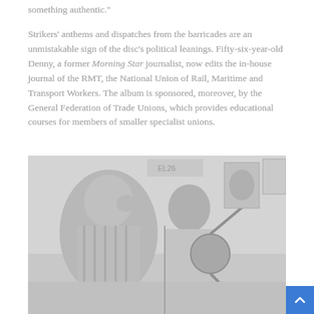something authentic.
Strikers' anthems and dispatches from the barricades are an unmistakable sign of the disc's political leanings. Fifty-six-year-old Denny, a former Morning Star journalist, now edits the in-house journal of the RMT, the National Union of Rail, Maritime and Transport Workers. The album is sponsored, moreover, by the General Federation of Trade Unions, which provides educational courses for members of smaller specialist unions.
[Figure (photo): Black and white photograph of two musicians performing. On the left, a heavyset man in a striped shirt with his hand raised near his face. In the center, a person playing a banjo or similar stringed instrument, wearing a sleeveless top. Background shows what appears to be a bar or music venue with posters on the wall.]